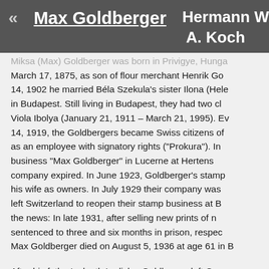« Max Goldberger  Hermann W.  A. Koch
Miksa (Max) Goldberger was born in Privigye, Hunga... March 17, 1875, as son of flour merchant Henrik Go... 14, 1902 he married Béla Szekula's sister Ilona (Hele... in Budapest. Still living in Budapest, they had two ch... Viola Ibolya (January 21, 1911 – March 21, 1995). Ev... 14, 1919, the Goldbergers became Swiss citizens of... as an employee with signatory rights ("Prokura"). In... business "Max Goldberger" in Lucerne at Hertens... company expired. In June 1923, Goldberger's stamp... his wife as owners. In July 1929 their company was... left Switzerland to reopen their stamp business at B... the news: In late 1931, after selling new prints of n... sentenced to three and six months in prison, respec... Max Goldberger died on August 5, 1936 at age 61 in B...
After his father's death Ladislav Goldberger left Ger... stamp trade, but after the outbreak of the war this...